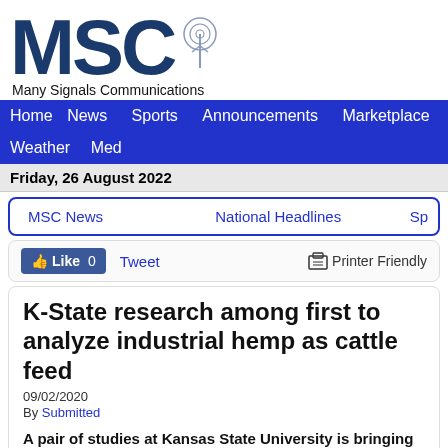[Figure (logo): MSC Many Signals Communications logo with tower icon]
Home  News  Sports  Announcements  Marketplace  Weather  Med
Friday, 26 August 2022
MSC News    National Headlines    Sp
Like 0   Tweet   Printer Friendly
K-State research among first to analyze industrial hemp as cattle feed
09/02/2020
By Submitted
A pair of studies at Kansas State University is bringing new insights to producers seeking to incorporate industrial hemp in cattle feed...